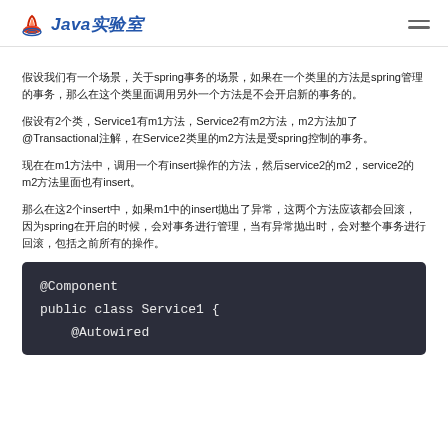Java实验室
假设我们有一个场景，关于spring事务的场景，如果在一个类里的方法是spring管理的事务，那么在这个类里面调用另外一个方法是不会开启新的事务的。
假设有2个类，Service1有m1方法，Service2有m2方法，m2方法加了@Transactional注解，在Service2类里的m2方法是受spring控制的事务。
现在在m1方法中，调用一个有insert操作的方法，然后service2的m2，service2的m2方法里面也有insert。
那么在这2个insert中，如果m1中的insert抛出了异常，这两个方法应该都会回滚，因为spring在开启的时候，会对事务进行管理，当有异常抛出时，会对整个事务进行回滚，包括之前所有的操作。
@Component
public class Service1 {
    @Autowired